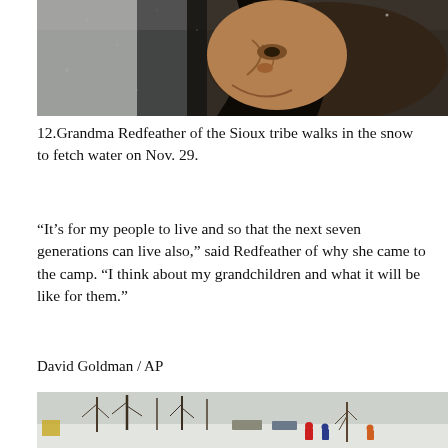[Figure (photo): Close-up photograph of an elderly Native American woman (Grandma Redfeather) looking downward, wearing a dark jacket, with snow falling, dark background.]
12.Grandma Redfeather of the Sioux tribe walks in the snow to fetch water on Nov. 29.
“It’s for my people to live and so that the next seven generations can live also,” said Redfeather of why she came to the camp. “I think about my grandchildren and what it will be like for them.”
David Goldman / AP
[Figure (photo): Wide winter landscape photograph showing a snowy field with bare trees, parked cars, and people in colorful winter clothing standing near a small bare tree at a camp.]